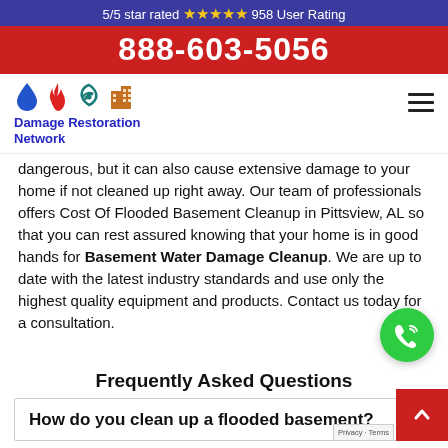5/5 star rated ★★★★★ 958 User Rating
888-603-5056
[Figure (logo): Damage Restoration Network logo with water drop, fire, hurricane, and building icons]
dangerous, but it can also cause extensive damage to your home if not cleaned up right away. Our team of professionals offers Cost Of Flooded Basement Cleanup in Pittsview, AL so that you can rest assured knowing that your home is in good hands for Basement Water Damage Cleanup. We are up to date with the latest industry standards and use only the highest quality equipment and products. Contact us today for a consultation.
Frequently Asked Questions
How do you clean up a flooded basement?